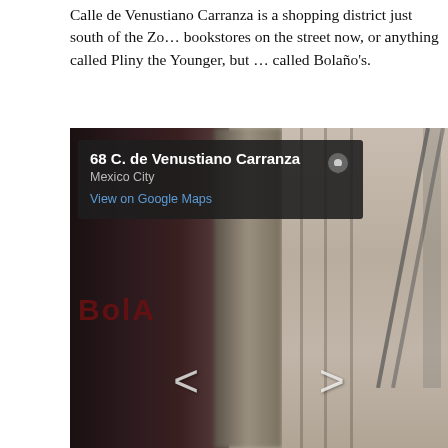Calle de Venustiano Carranza is a shopping district just south of the Zo… bookstores on the street now, or anything called Pliny the Younger, but … called Bolaño's.
[Figure (photo): Google Street View screenshot of 68 C. de Venustiano Carranza, Mexico City, showing a dark storefront on the left and a tan/beige building facade on the right. A Google Maps overlay in the upper-left shows the address '68 C. de Venustiano Carranza', 'Mexico City', and 'View on Google Maps' with a map pin icon. Navigation arrows (< and >) are visible at the bottom.]